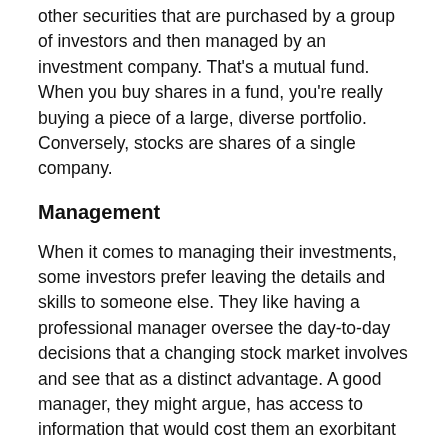other securities that are purchased by a group of investors and then managed by an investment company. That's a mutual fund. When you buy shares in a fund, you're really buying a piece of a large, diverse portfolio. Conversely, stocks are shares of a single company.
Management
When it comes to managing their investments, some investors prefer leaving the details and skills to someone else. They like having a professional manager oversee the day-to-day decisions that a changing stock market involves and see that as a distinct advantage. A good manager, they might argue, has access to information that would cost them an exorbitant amount, even if they had the time and inclination to do the work themselves.
On the other hand, some investors would never surrender control of their investments. Individual comfort level plays a big part in your investment